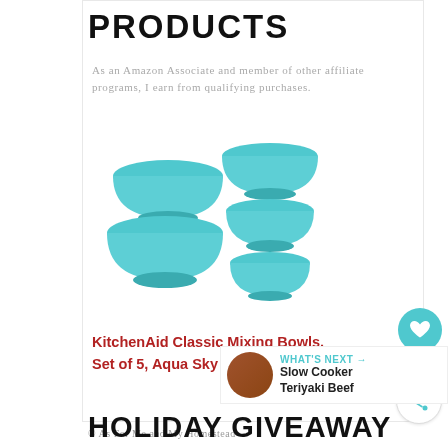PRODUCTS
As an Amazon Associate and member of other affiliate programs, I earn from qualifying purchases.
[Figure (photo): Set of 5 KitchenAid Classic Mixing Bowls in Aqua Sky color arranged in a two-column display]
KitchenAid Classic Mixing Bowls, Set of 5, Aqua Sky 2
© As For Me and My Homestead
CATEGORY: Dessert
WHAT'S NEXT → Slow Cooker Teriyaki Beef
HOLIDAY GIVEAWAY